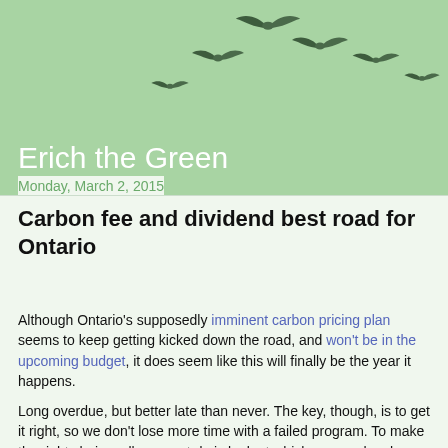[Figure (illustration): Green header banner with silhouettes of birds flying in a curved formation against a light green background]
Erich the Green
Monday, March 2, 2015
Carbon fee and dividend best road for Ontario
Although Ontario's supposedly imminent carbon pricing plan seems to keep getting kicked down the road, and won't be in the upcoming budget, it does seem like this will finally be the year it happens.
Long overdue, but better late than never. The key, though, is to get it right, so we don't lose more time with a failed program. To make the right choice, all we must do is look at which approaches have succeeded and which have not.